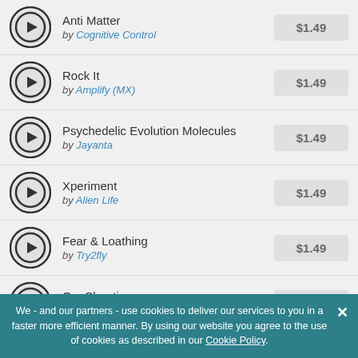Anti Matter by Cognitive Control $1.49
Rock It by Amplify (MX) $1.49
Psychedelic Evolution Molecules by Jayanta $1.49
Xperiment by Alien Life $1.49
Fear & Loathing by Try2fly $1.49
Om Shanti by Art Alien $1.49
We - and our partners - use cookies to deliver our services to you in a faster more efficient manner. By using our website you agree to the use of cookies as described in our Cookie Policy.